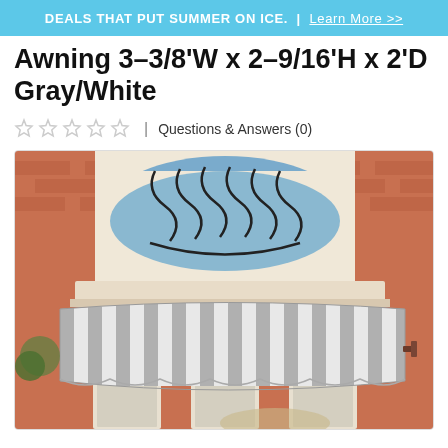DEALS THAT PUT SUMMER ON ICE. | Learn More >>
Awning 3-3/8'W x 2-9/16'H x 2'D Gray/White
★★★★★ | Questions & Answers (0)
[Figure (photo): Product photo of a gray and white striped awning mounted on a brick building exterior, with decorative iron window above]